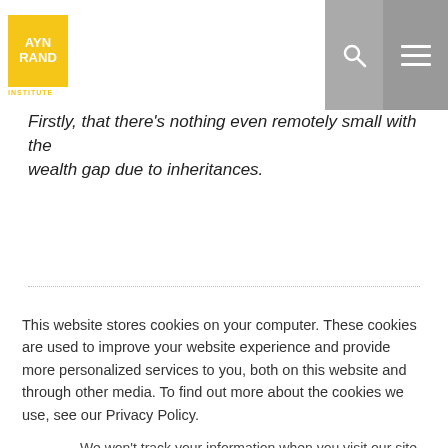Ayn Rand Institute
Firstly, that there's nothing even remotely small with the wealth gap due to inheritances.
[Figure (other): ARI News banner with book cover showing 'America's Misguided Fight Against Income Inequality' and 'EQUAL' text in red]
This website stores cookies on your computer. These cookies are used to improve your website experience and provide more personalized services to you, both on this website and through other media. To find out more about the cookies we use, see our Privacy Policy.
We won't track your information when you visit our site. But in order to comply with your preferences, we'll have to use just one tiny cookie so that you're not asked to make this choice again.